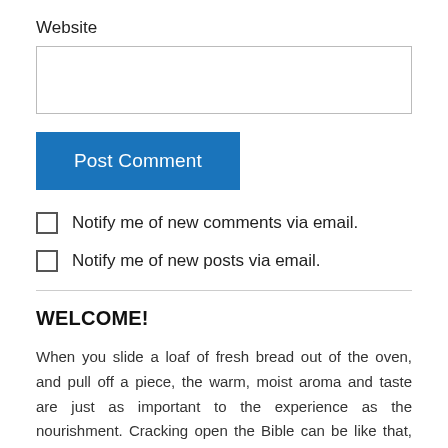Website
Post Comment
Notify me of new comments via email.
Notify me of new posts via email.
WELCOME!
When you slide a loaf of fresh bread out of the oven, and pull off a piece, the warm, moist aroma and taste are just as important to the experience as the nourishment. Cracking open the Bible can be like that, and that is what this kitchen is all about. God's Word is fresh bread for our souls, meant to be savored as it nourishes. It ain't no store-bought, plastic-wrapped, every-slice-the same bread. it is rich and tasty,